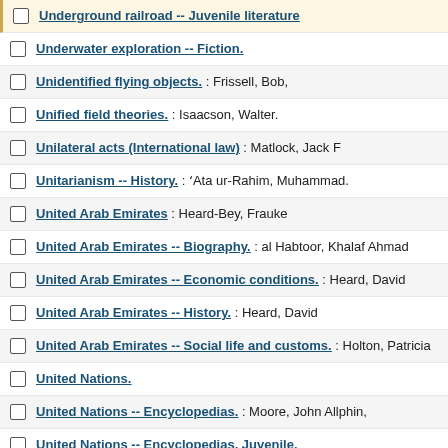Underground railroad -- Juvenile literature
Underwater exploration -- Fiction.
Unidentified flying objects. : Frissell, Bob,
Unified field theories. : Isaacson, Walter.
Unilateral acts (International law) : Matlock, Jack F
Unitarianism -- History. : ʻAta ur-Rahim, Muhammad.
United Arab Emirates : Heard-Bey, Frauke
United Arab Emirates -- Biography. : al Habtoor, Khalaf Ahmad
United Arab Emirates -- Economic conditions. : Heard, David
United Arab Emirates -- History. : Heard, David
United Arab Emirates -- Social life and customs. : Holton, Patricia
United Nations.
United Nations -- Encyclopedias. : Moore, John Allphin,
United Nations -- Encyclopedias, Juvenile.
United Nations -- History.
United States.
United States -- Antiquities -- Anecdotes. : Karg, Barbara.
United States -- Armed Forces -- Biography -- Encyclopedias. : Ax